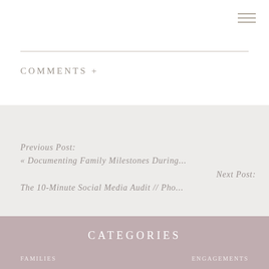☰
COMMENTS +
Previous Post:
« Documenting Family Milestones During...
Next Post:
The 10-Minute Social Media Audit // Pho...
CATEGORIES
FAMILIES    ENGAGEMENTS